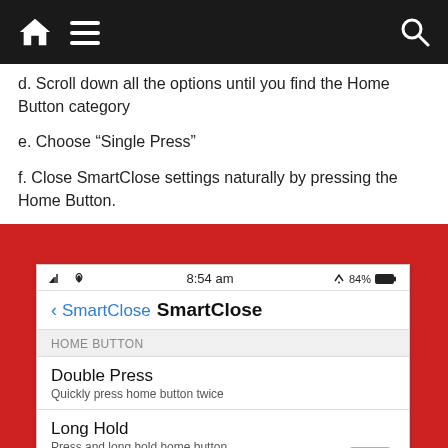Home / Menu / Search
d. Scroll down all the options until you find the Home Button category
e. Choose “Single Press”
f. Close SmartClose settings naturally by pressing the Home Button.
[Figure (screenshot): iOS app screenshot showing SmartClose settings page with HOME BUTTON section containing Double Press and Long Hold options, status bar showing 8:54 am, 84% battery]